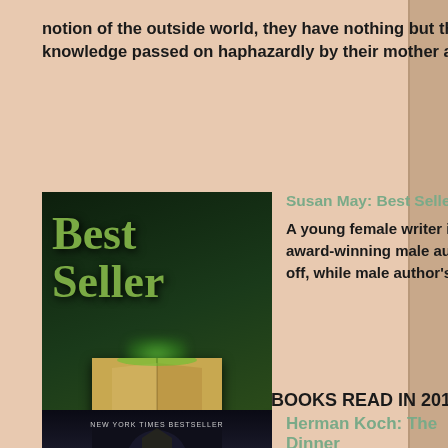notion of the outside world, they have nothing but the family's boat and the little knowledge passed on haphazardly by their mother and father to keep them. (****)
[Figure (photo): Book cover of 'Best Seller' by Susan May — dark green background with an open book emitting green smoky light, title in large green text]
Susan May: Best Seller
A young female writer is mentored by an experienced award-winning male author. Female writer's career takes off, while male author's hits the skids. Then all hell breaks loose. This is one of the best thrillers, and most original plots, I've ever read. I can recommend it gladly to all thriller lovers. (****)
BOOKS READ IN 2019
[Figure (photo): Book cover of 'The Dinner' by Herman Koch — New York Times Bestseller, dark background with a silhouette figure]
Herman Koch: The Dinner